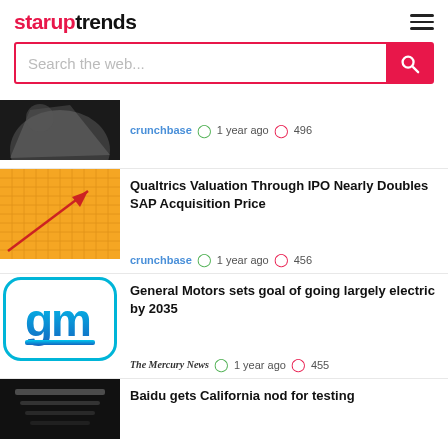staruptrends
Search the web...
crunchbase  1 year ago  496
Qualtrics Valuation Through IPO Nearly Doubles SAP Acquisition Price
crunchbase  1 year ago  456
General Motors sets goal of going largely electric by 2035
The Mercury News  1 year ago  455
Baidu gets California nod for testing